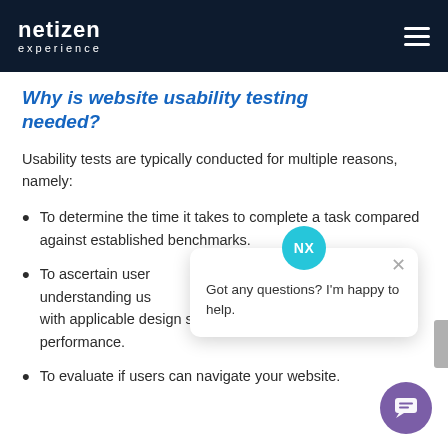netizen experience
Why is website usability testing needed?
Usability tests are typically conducted for multiple reasons, namely:
To determine the time it takes to complete a task compared against established benchmarks.
To ascertain user understanding us with applicable design solutions to improve user performance.
To evaluate if users can navigate your website.